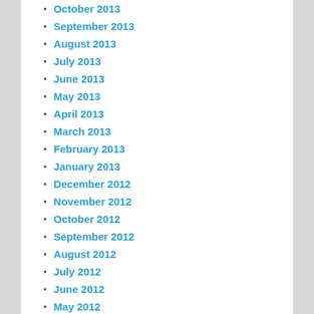October 2013
September 2013
August 2013
July 2013
June 2013
May 2013
April 2013
March 2013
February 2013
January 2013
December 2012
November 2012
October 2012
September 2012
August 2012
July 2012
June 2012
May 2012
CATEGORIES
Abraham Lincoln